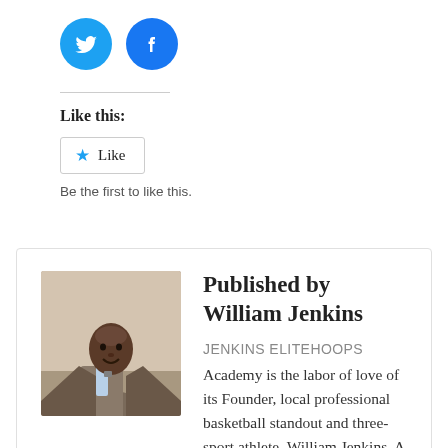[Figure (logo): Twitter and Facebook social share icon buttons (circular blue icons)]
Like this:
[Figure (other): Like button with star icon and text 'Like']
Be the first to like this.
Published by William Jenkins
JENKINS ELITEHOOPS
Academy is the labor of love of its Founder, local professional basketball standout and three-sport athlete, William Jenkins. A Glendale, WI native, William